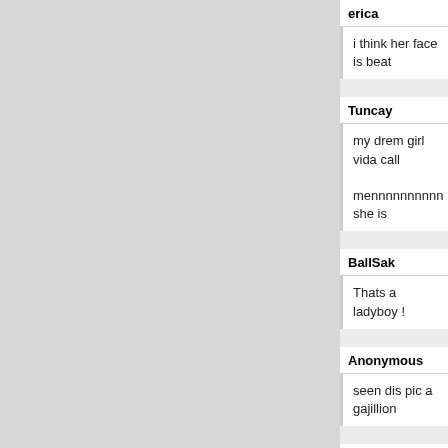erica
i think her face is beat
Tuncay
my drem girl vida call
mennnnnnnnnn she is
BallSak
Thats a ladyboy !
Anonymous
seen dis pic a gajillion
Shn
and you've wanked to
BallSak
I'll wank over you, ya